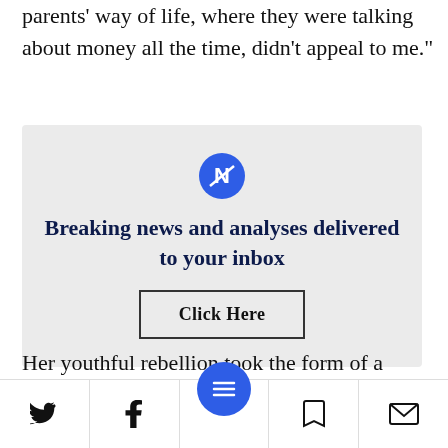parents' way of life, where they were talking about money all the time, didn't appeal to me."
[Figure (infographic): Newsletter signup ad box with blue circular logo icon, bold text 'Breaking news and analyses delivered to your inbox', and a 'Click Here' button with border.]
Her youthful rebellion took the form of a romantic fantasy. In [icon] by the poems of
Twitter | Facebook | Menu | Bookmark | Email